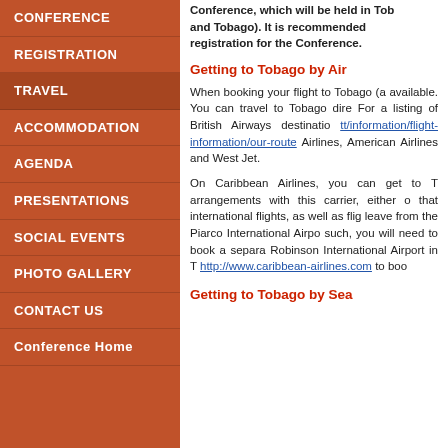CONFERENCE
REGISTRATION
TRAVEL
ACCOMMODATION
AGENDA
PRESENTATIONS
SOCIAL EVENTS
PHOTO GALLERY
CONTACT US
Conference Home
Conference, which will be held in Tobago (Trinidad and Tobago). It is recommended registration for the Conference.
Getting to Tobago by Air
When booking your flight to Tobago (a available. You can travel to Tobago directly. For a listing of British Airways destinations: tt/information/flight-information/our-route Airlines, American Airlines and West Jet.
On Caribbean Airlines, you can get to T arrangements with this carrier, either on that international flights, as well as flights leave from the Piarco International Airport such, you will need to book a separate Robinson International Airport in T http://www.caribbean-airlines.com to book
Getting to Tobago by Sea